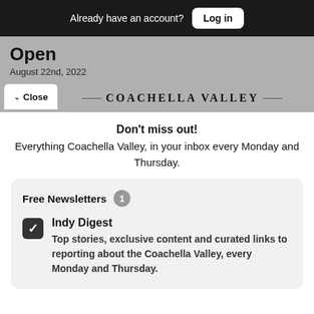Already have an account? Log in
Open
August 22nd, 2022
✓ Close  COACHELLA VALLEY
Don't miss out! Everything Coachella Valley, in your inbox every Monday and Thursday.
Free Newsletters 1
Indy Digest
Top stories, exclusive content and curated links to reporting about the Coachella Valley, every Monday and Thursday.